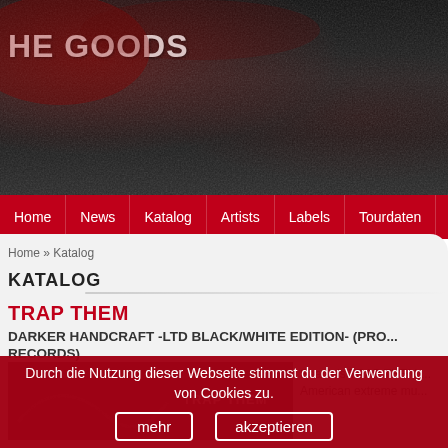THE GOODS
Home | News | Katalog | Artists | Labels | Tourdaten | FA...
Home » Katalog
KATALOG
TRAP THEM
DARKER HANDCRAFT -LTD BLACK/WHITE EDITION- (PRO... RECORDS)
[Figure (photo): Black and white album artwork for Trap Them - Darker Handcraft showing dark abstract imagery with the text TRAP THEM]
Seattle's TRAP THEM ... American extreme mu...
Durch die Nutzung dieser Webseite stimmst du der Verwendung von Cookies zu.
mehr | akzeptieren